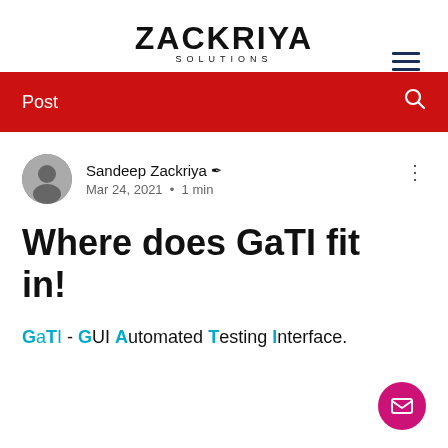[Figure (logo): Zackriya Solutions logo — large bold uppercase ZACKRIYA with SOLUTIONS in spaced small caps below]
Post
Sandeep Zackriya ✏ · Mar 24, 2021 · 1 min
Where does GaTI fit in!
GaTI - GUI Automated Testing Interface.